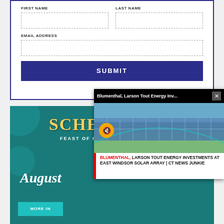FIRST NAME
LAST NAME
EMAIL ADDRESS
SUBMIT
[Figure (screenshot): Schemitzun Feast of Green Corn and Dance event advertisement banner with teal background and decorative elements, showing 'August' text and 'MORE IN...' button]
[Figure (screenshot): Video popup overlay showing solar panels photo with title 'Blumenthal, Larson Tout Energy Inv...' and caption 'BLUMENTHAL, LARSON TOUT ENERGY INVESTMENTS AT EAST WINDSOR SOLAR ARRAY | CT NEWS JUNKIE']